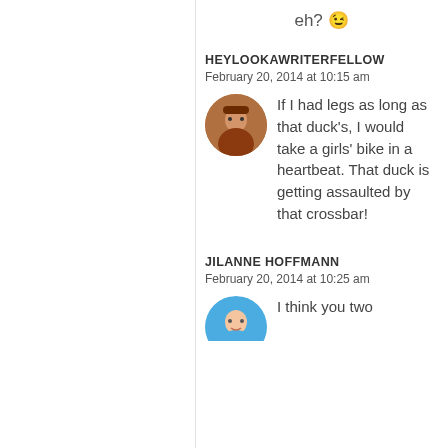eh? 😉
HEYLOOKAWRITERFELLOW
February 20, 2014 at 10:15 am
If I had legs as long as that duck's, I would take a girls' bike in a heartbeat. That duck is getting assaulted by that crossbar!
JILANNE HOFFMANN
February 20, 2014 at 10:25 am
I think you two